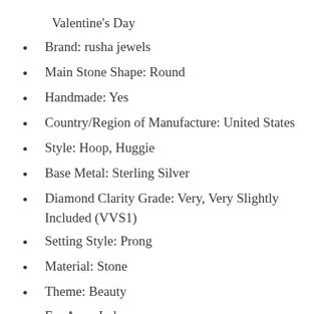Valentine's Day
Brand: rusha jewels
Main Stone Shape: Round
Handmade: Yes
Country/Region of Manufacture: United States
Style: Hoop, Huggie
Base Metal: Sterling Silver
Diamond Clarity Grade: Very, Very Slightly Included (VVS1)
Setting Style: Prong
Material: Stone
Theme: Beauty
Ear Area: Lobe
Cut Grade: Excellent